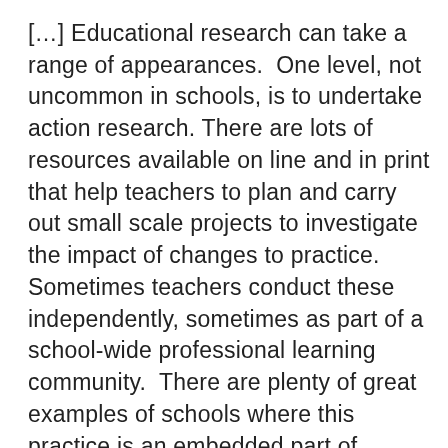[…] Educational research can take a range of appearances. One level, not uncommon in schools, is to undertake action research. There are lots of resources available on line and in print that help teachers to plan and carry out small scale projects to investigate the impact of changes to practice. Sometimes teachers conduct these independently, sometimes as part of a school-wide professional learning community. There are plenty of great examples of schools where this practice is an embedded part of teaching and